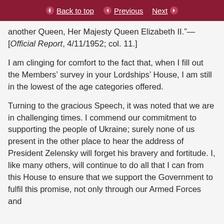Back to top | Previous | Next
another Queen, Her Majesty Queen Elizabeth II.”—[Official Report, 4/11/1952; col. 11.]
I am clinging for comfort to the fact that, when I fill out the Members’ survey in your Lordships’ House, I am still in the lowest of the age categories offered.
Turning to the gracious Speech, it was noted that we are in challenging times. I commend our commitment to supporting the people of Ukraine; surely none of us present in the other place to hear the address of President Zelensky will forget his bravery and fortitude. I, like many others, will continue to do all that I can from this House to ensure that we support the Government to fulfil this promise, not only through our Armed Forces and